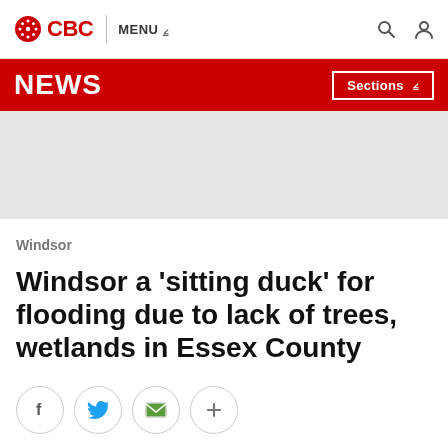CBC | MENU
NEWS  Sections
[Figure (other): Grey advertisement placeholder banner]
Windsor
Windsor a 'sitting duck' for flooding due to lack of trees, wetlands in Essex County
[Figure (other): Social share buttons: Facebook, Twitter, Email, More]